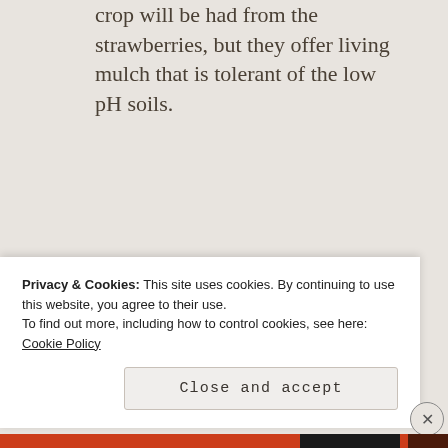crop will be had from the strawberries, but they offer living mulch that is tolerant of the low pH soils.
SHARE THIS:
[Figure (other): Share button with share icon]
Privacy & Cookies: This site uses cookies. By continuing to use this website, you agree to their use.
To find out more, including how to control cookies, see here: Cookie Policy
Close and accept